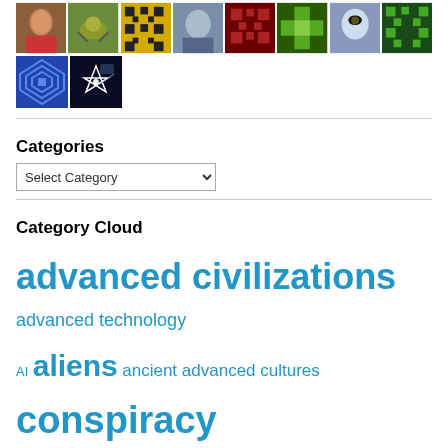[Figure (photo): Grid of thumbnail images: woman with red scarf, insect/bug close-up, geometric pixel pattern (yellow/gold), man with glasses, dark red pixel pattern, green cross pixel pattern, cat close-up, green pixel pattern, blue diamond pixel pattern, another blue diamond pixel pattern, space/spacecraft image]
Categories
Select Category (dropdown)
Category Cloud
advanced civilizations
advanced technology
AI
aliens
ancient advanced cultures
conspiracy
esoteric science
Fortean studies
global politics
interstellar travel
life
NASA
neocons
NWO
paranormal